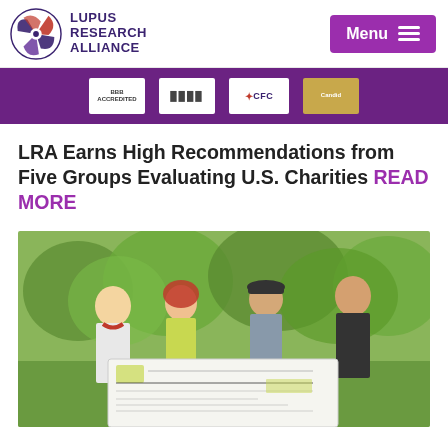Lupus Research Alliance — Menu
[Figure (photo): Purple banner strip showing charity evaluation badges/logos including CFC and Candid/GuideStar gold seal]
LRA Earns High Recommendations from Five Groups Evaluating U.S. Charities READ MORE
[Figure (photo): Four people standing outdoors on a golf course holding a large ceremonial check]